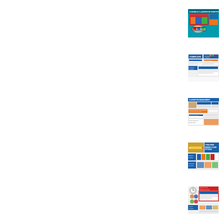[Figure (illustration): Thumbnail image of Digital Classroom Graphics product showing a tablet/screen with colorful educational graphics, teal border, text reading E-BUNDLE CLASSROOM GRAPHICS]
[Figure (illustration): Thumbnail image of Nameplates, Number Labels, Name Tags, and Basket Labels classroom product bundle with blue and orange design]
[Figure (illustration): Thumbnail image of Classroom Management product bundle showing various classroom management charts and tools]
[Figure (illustration): Thumbnail image of Teaching Binder Options product showing 3 teaching binder options, binder spines, and binder covers]
[Figure (illustration): Thumbnail image of Interactive Decor Charts product showing clock labels, anchor charts, and other classroom decor items]